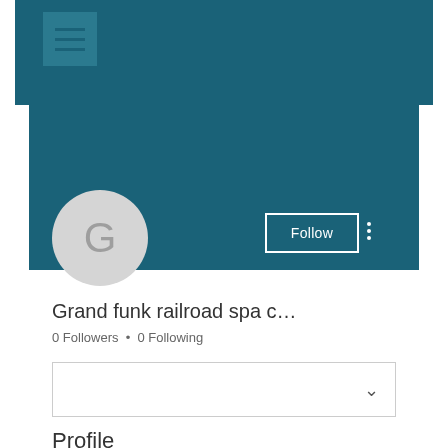[Figure (screenshot): Navigation header bar with teal/dark blue background and hamburger menu button]
[Figure (screenshot): Teal cover photo banner area]
[Figure (illustration): Circular grey avatar with letter G]
Follow
Grand funk railroad spa c…
0 Followers • 0 Following
[Figure (screenshot): Dropdown selector box with chevron]
Profile
Join date: May 18, 2022